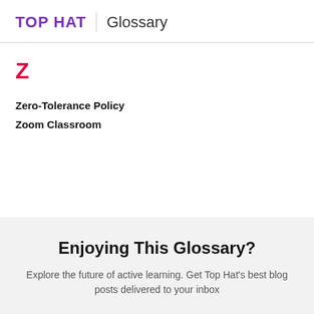TOP HAT | Glossary
Z
Zero-Tolerance Policy
Zoom Classroom
Enjoying This Glossary?
Explore the future of active learning. Get Top Hat's best blog posts delivered to your inbox